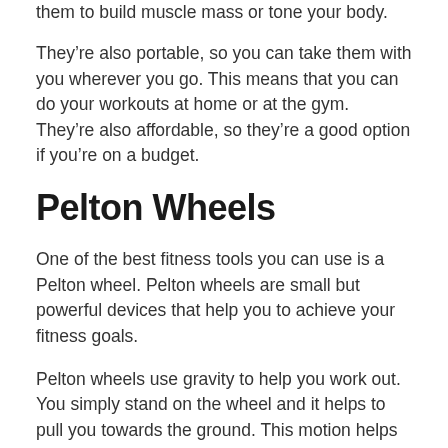them to build muscle mass or tone your body.
They’re also portable, so you can take them with you wherever you go. This means that you can do your workouts at home or at the gym. They’re also affordable, so they’re a good option if you’re on a budget.
Pelton Wheels
One of the best fitness tools you can use is a Pelton wheel. Pelton wheels are small but powerful devices that help you to achieve your fitness goals.
Pelton wheels use gravity to help you work out. You simply stand on the wheel and it helps to pull you towards the ground. This motion helps to increase your muscle strength and cardiovascular endurance. Pelton wheels can also help you to lose weight and